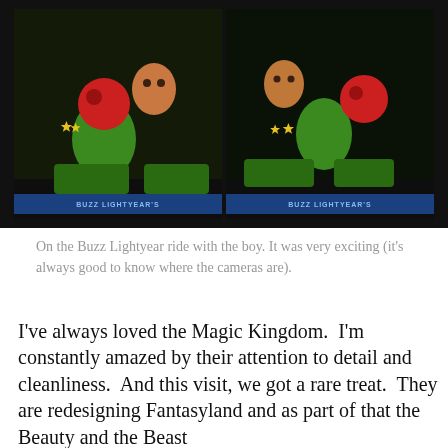[Figure (photo): Two side-by-side photos of a child on the Buzz Lightyear ride at Disney's Magic Kingdom, showing Buzz Lightyear themed targets and game elements in the ride vehicle.]
On the Buzz Lightyear ride with the boy. It was very exciting (it's always good to know where the cameras are).
I've always loved the Magic Kingdom.  I'm constantly amazed by their attention to detail and cleanliness.  And this visit, we got a rare treat.  They are redesigning Fantasyland and as part of that the Beauty and the Beast
Privacy & Cookies: This site uses cookies. By continuing to use this website, you agree to their use.
To find out more, including how to control cookies, see here: Cookie Policy
Close and accept